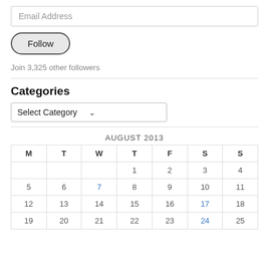Email Address
Follow
Join 3,325 other followers
Categories
Select Category
| M | T | W | T | F | S | S |
| --- | --- | --- | --- | --- | --- | --- |
|  |  |  | 1 | 2 | 3 | 4 |
| 5 | 6 | 7 | 8 | 9 | 10 | 11 |
| 12 | 13 | 14 | 15 | 16 | 17 | 18 |
| 19 | 20 | 21 | 22 | 23 | 24 | 25 |